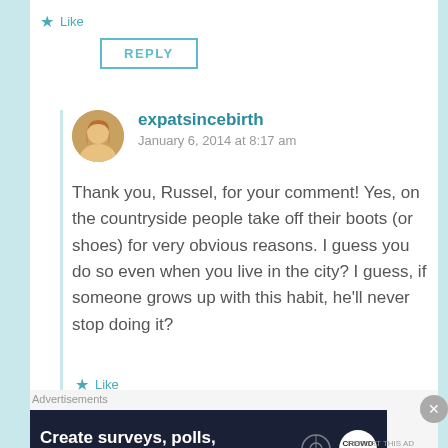★ Like
REPLY
expatsincebirth
January 6, 2014 at 8:17 am
Thank you, Russel, for your comment! Yes, on the countryside people take off their boots (or shoes) for very obvious reasons. I guess you do so even when you live in the city? I guess, if someone grows up with this habit, he'll never stop doing it?
★ Like
Advertisements
Create surveys, polls, quizzes, and forms.